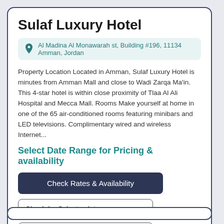Sulaf Luxury Hotel
Al Madina Al Monawarah st, Building #196, 11134 Amman, Jordan
Property Location Located in Amman, Sulaf Luxury Hotel is minutes from Amman Mall and close to Wadi Zarqa Ma'in. This 4-star hotel is within close proximity of Tlaa Al Ali Hospital and Mecca Mall. Rooms Make yourself at home in one of the 65 air-conditioned rooms featuring minibars and LED televisions. Complimentary wired and wireless Internet...
Select Date Range for Pricing & availability
Check Rates & Availability
Check-In: Select a date range
Check-Out:Select a date ra...
👍 Upvote
👎 Downvote
Sulaf Luxury Hotel made our top 40 Jordan Hotels list